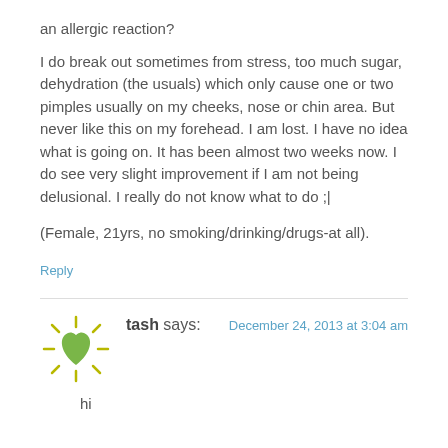an allergic reaction?
I do break out sometimes from stress, too much sugar, dehydration (the usuals) which only cause one or two pimples usually on my cheeks, nose or chin area. But never like this on my forehead. I am lost. I have no idea what is going on. It has been almost two weeks now. I do see very slight improvement if I am not being delusional. I really do not know what to do ;|
(Female, 21yrs, no smoking/drinking/drugs-at all).
Reply
tash says:
December 24, 2013 at 3:04 am
hi